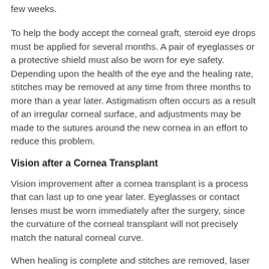few weeks.
To help the body accept the corneal graft, steroid eye drops must be applied for several months. A pair of eyeglasses or a protective shield must also be worn for eye safety. Depending upon the health of the eye and the healing rate, stitches may be removed at any time from three months to more than a year later. Astigmatism often occurs as a result of an irregular corneal surface, and adjustments may be made to the sutures around the new cornea in an effort to reduce this problem.
Vision after a Cornea Transplant
Vision improvement after a cornea transplant is a process that can last up to one year later. Eyeglasses or contact lenses must be worn immediately after the surgery, since the curvature of the corneal transplant will not precisely match the natural corneal curve.
When healing is complete and stitches are removed, laser